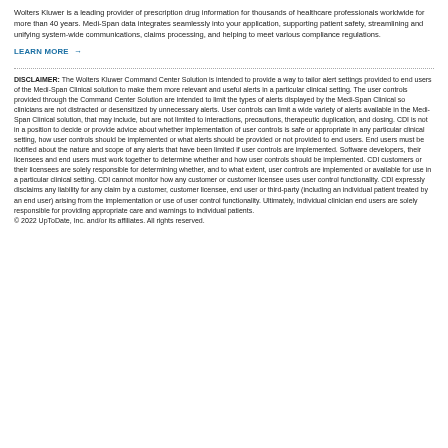Wolters Kluwer is a leading provider of prescription drug information for thousands of healthcare professionals worldwide for more than 40 years. Medi-Span data integrates seamlessly into your application, supporting patient safety, streamlining and unifying system-wide communications, claims processing, and helping to meet various compliance regulations.
LEARN MORE →
DISCLAIMER: The Wolters Kluwer Command Center Solution is intended to provide a way to tailor alert settings provided to end users of the Medi-Span Clinical solution to make them more relevant and useful alerts in a particular clinical setting. The user controls provided through the Command Center Solution are intended to limit the types of alerts displayed by the Medi-Span Clinical so clinicians are not distracted or desensitized by unnecessary alerts. User controls can limit a wide variety of alerts available in the Medi-Span Clinical solution, that may include, but are not limited to interactions, precautions, therapeutic duplication, and dosing. CDI is not in a position to decide or provide advice about whether implementation of user controls is safe or appropriate in any particular clinical setting, how user controls should be implemented or what alerts should be provided or not provided to end users. End users must be notified about the nature and scope of any alerts that have been limited if user controls are implemented. Software developers, their licensees and end users must work together to determine whether and how user controls should be implemented. CDI customers or their licensees are solely responsible for determining whether, and to what extent, user controls are implemented or available for use in a particular clinical setting. CDI cannot monitor how any customer or customer licensee uses user control functionality. CDI expressly disclaims any liability for any claim by a customer, customer licensee, end user or third-party (including an individual patient treated by an end user) arising from the implementation or use of user control functionality. Ultimately, individual clinician end users are solely responsible for providing appropriate care and warnings to individual patients.
© 2022 UpToDate, Inc. and/or its affiliates. All rights reserved.